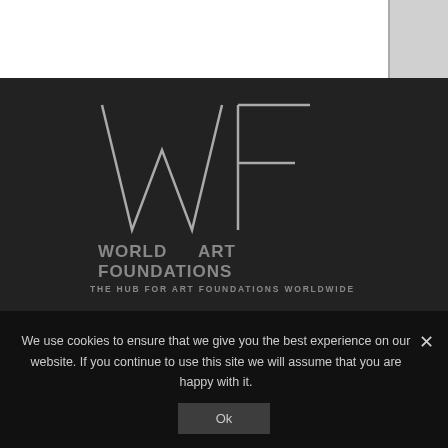[Figure (logo): World Art Foundations logo — geometric WAF letterform in white outline on dark background]
WORLD    ART
FOUNDATIONS
THE HUB FOR ART FOUNDATIONS WORLDWIDE
Contact Us
Get Involved
We use cookies to ensure that we give you the best experience on our website. If you continue to use this site we will assume that you are happy with it.
Ok